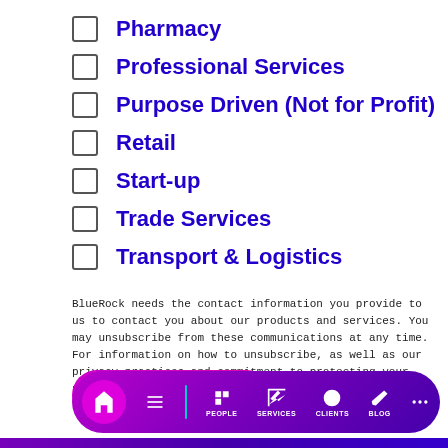Pharmacy
Professional Services
Purpose Driven (Not for Profit)
Retail
Start-up
Trade Services
Transport & Logistics
BlueRock needs the contact information you provide to us to contact you about our products and services. You may unsubscribe from these communications at any time. For information on how to unsubscribe, as well as our privacy practices and commitment to protecting your privacy, please review our Privacy Policy.
PEOPLE SERVICES CLIENTS BLOG